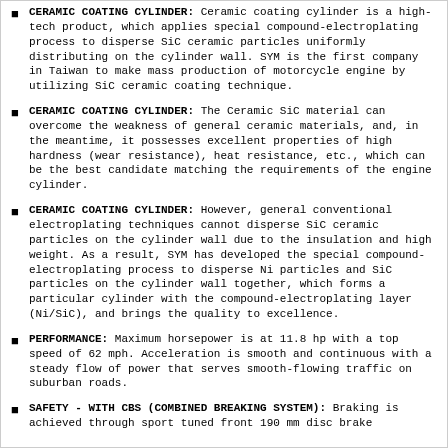CERAMIC COATING CYLINDER: Ceramic coating cylinder is a high-tech product, which applies special compound-electroplating process to disperse SiC ceramic particles uniformly distributing on the cylinder wall. SYM is the first company in Taiwan to make mass production of motorcycle engine by utilizing SiC ceramic coating technique.
CERAMIC COATING CYLINDER: The Ceramic SiC material can overcome the weakness of general ceramic materials, and, in the meantime, it possesses excellent properties of high hardness (wear resistance), heat resistance, etc., which can be the best candidate matching the requirements of the engine cylinder.
CERAMIC COATING CYLINDER: However, general conventional electroplating techniques cannot disperse SiC ceramic particles on the cylinder wall due to the insulation and high weight. As a result, SYM has developed the special compound-electroplating process to disperse Ni particles and SiC particles on the cylinder wall together, which forms a particular cylinder with the compound-electroplating layer (Ni/SiC), and brings the quality to excellence.
PERFORMANCE: Maximum horsepower is at 11.8 hp with a top speed of 62 mph. Acceleration is smooth and continuous with a steady flow of power that serves smooth-flowing traffic on suburban roads.
SAFETY - WITH CBS (COMBINED BREAKING SYSTEM): Braking is achieved through sport tuned front 190 mm disc brake